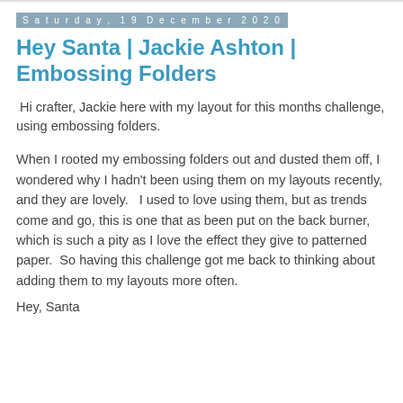Saturday, 19 December 2020
Hey Santa | Jackie Ashton | Embossing Folders
Hi crafter, Jackie here with my layout for this months challenge, using embossing folders.
When I rooted my embossing folders out and dusted them off, I wondered why I hadn't been using them on my layouts recently, and they are lovely.   I used to love using them, but as trends come and go, this is one that as been put on the back burner, which is such a pity as I love the effect they give to patterned paper.  So having this challenge got me back to thinking about adding them to my layouts more often.
Hey, Santa